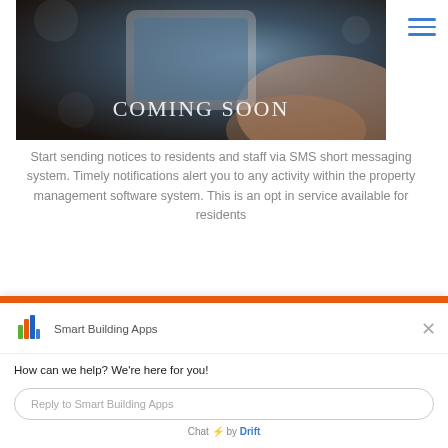[Figure (photo): Hand holding a smartphone, dark/warm background tones with 'COMING SOON' text overlay in white serif font]
Start sending notices to residents and staff via SMS short messaging system. Timely notifications alert you to any activity within the property management software system. This is an opt in service available for residents
[Figure (screenshot): Smart Building Apps chat widget overlay. Header shows Smart Building Apps logo and name with X close button. Greeting reads 'How can we help? We're here for you!' with a reply input field placeholder 'Reply to Smart Building Apps'. Footer shows 'Chat ⚡ by Drift'.]